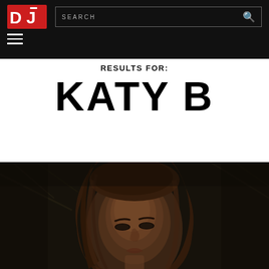DJ Mag - Search
RESULTS FOR:
KATY B
[Figure (photo): Close-up portrait photo of Katy B, a young woman with long auburn hair, looking upward against a dark moody background with bare tree branches.]